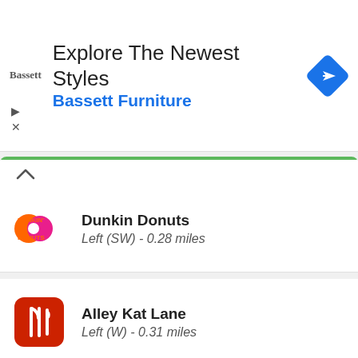[Figure (screenshot): Advertisement banner for Bassett Furniture with text 'Explore The Newest Styles' and 'Bassett Furniture', Bassett logo on left, blue navigation arrow icon on right]
Dunkin Donuts
Left (SW) - 0.28 miles
Alley Kat Lane
Left (W) - 0.31 miles
McDonalds
Left (W) - 0.31 miles
Kingston Ten Pin
Left (W) - 0.31 miles